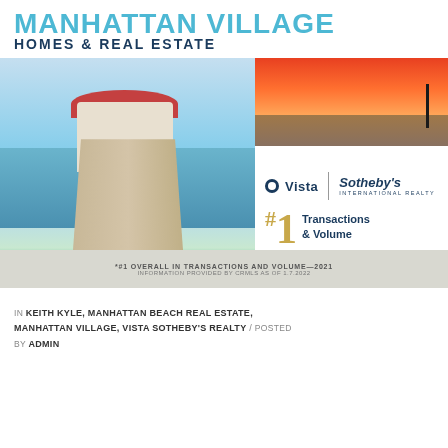[Figure (logo): Manhattan Village Homes & Real Estate logo with blue stylized text]
[Figure (photo): Composite real estate promotional image: Manhattan Beach pier photo on the left, sunset pier photo top right, Vista Sotheby's International Realty branding with #1 Transactions & Volume in Manhattan Beach on the right panel. Caption bar reads: *#1 OVERALL IN TRANSACTIONS AND VOLUME—2021 / INFORMATION PROVIDED BY CRMLS AS OF 1.7.2022]
IN KEITH KYLE, MANHATTAN BEACH REAL ESTATE, MANHATTAN VILLAGE, VISTA SOTHEBY'S REALTY / POSTED BY ADMIN